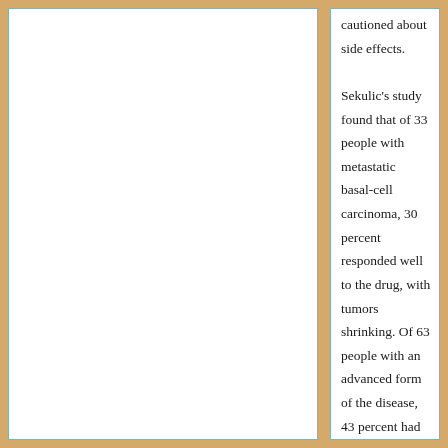cautioned about side effects. Sekulic's study found that of 33 people with metastatic basal-cell carcinoma, 30 percent responded well to the drug, with tumors shrinking. Of 63 people with an advanced form of the disease, 43 percent had positive responses. More than 30 percent reported side effects such as muscle spasms, taste loss, hair loss, muscle cramps and